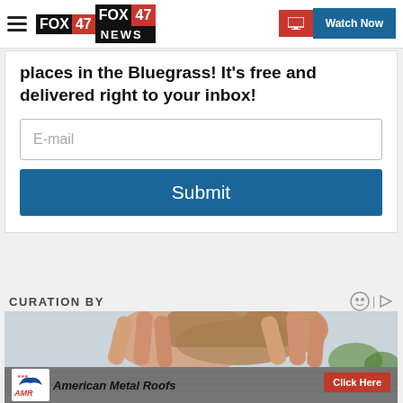FOX 47 NEWS | Watch Now
places in the Bluegrass! It's free and delivered right to your inbox!
E-mail
Submit
CURATION BY
[Figure (photo): Person with hands raised to head, with American Metal Roofs advertisement overlay showing 'Click Here' button]